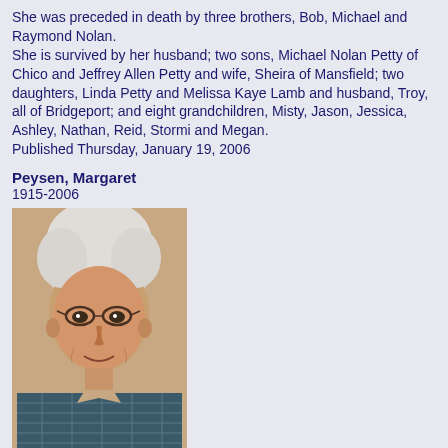She was preceded in death by three brothers, Bob, Michael and Raymond Nolan.
She is survived by her husband; two sons, Michael Nolan Petty of Chico and Jeffrey Allen Petty and wife, Sheira of Mansfield; two daughters, Linda Petty and Melissa Kaye Lamb and husband, Troy, all of Bridgeport; and eight grandchildren, Misty, Jason, Jessica, Ashley, Nathan, Reid, Stormi and Megan.
Published Thursday, January 19, 2006
Peysen, Margaret
1915-2006
[Figure (photo): Portrait photo of Margaret Peysen, an elderly woman with white/gray hair and glasses, wearing a patterned blouse]
Funeral for Margaret Elizabeth (Brumbelow) Peysen, 91, of Decatur was to be Saturday, Aug. 12, at 2 p.m. at Coker Funeral Home Chapel. James Arrington was to officiate, assisted by Leo Rev. Jackson. Burial was to follow at